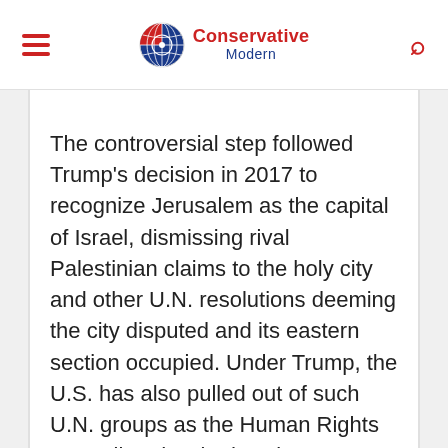Conservative Modern
The controversial step followed Trump's decision in 2017 to recognize Jerusalem as the capital of Israel, dismissing rival Palestinian claims to the holy city and other U.N. resolutions deeming the city disputed and its eastern section occupied. Under Trump, the U.S. has also pulled out of such U.N. groups as the Human Rights Council and United Nations Educational, Scientific and Cultural Organization (UNESCO) over what he claimed were their biases against Israel.